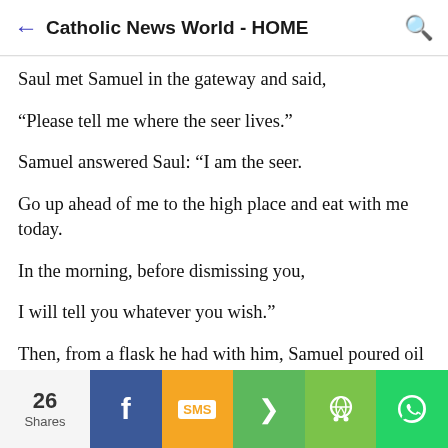Catholic News World - HOME
Saul met Samuel in the gateway and said,
“Please tell me where the seer lives.”
Samuel answered Saul: “I am the seer.
Go up ahead of me to the high place and eat with me today.
In the morning, before dismissing you,
I will tell you whatever you wish.”
Then, from a flask he had with him, Samuel poured oil on Saul’s head;
he also kissed him, saying:
“The LORD anoints you commander over his heritage.
You are to govern the LORD’s people Israel,
26 Shares | Facebook | SMS | Share | WeChat | WhatsApp